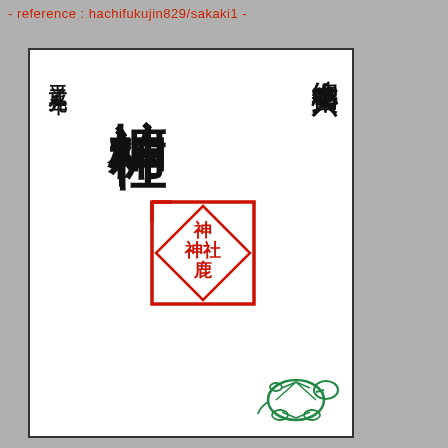- reference : hachifukujin829/sakaki1 -
[Figure (illustration): Japanese shrine stamp (goshuin) card showing the text 總本宮第六天 (right column), 平成三九年 (left date column), 椨神神社 (center large characters), a red square seal with Japanese characters in the middle, and a green turtle illustration at the bottom right.]